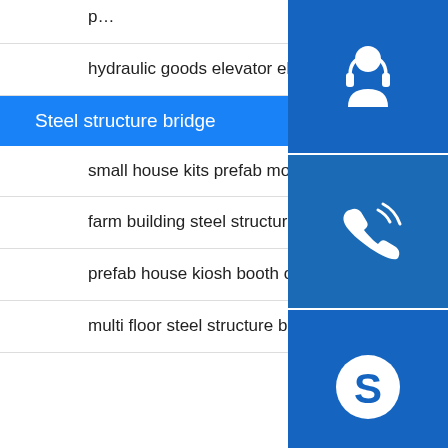p...
hydraulic goods elevator electric heavy duty warehouse cargo Welding
Steel structure bridge
small house kits prefab modern custom homes Painting
farm building steel structure chicken house steel polishing
prefab house kiosh booth office car parking workshop warehou Milling
multi floor steel structure building apartment sho Cutting
[Figure (infographic): Three blue square icon buttons stacked vertically on the right side: a customer service/headset icon, a phone/call icon, and a Skype icon.]